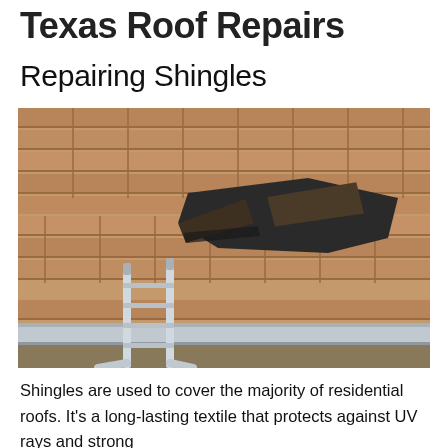Texas Roof Repairs
Repairing Shingles
[Figure (photo): A photograph of a damaged residential roof with tan/brown asphalt shingles. Several shingles are lifted, missing, or damaged in the center-right area of the roof, exposing the dark underlayment beneath. An aluminum/metal ladder leans against the gutter at the bottom-left of the image.]
Shingles are used to cover the majority of residential roofs. It’s a long-lasting textile that protects against UV rays and strong